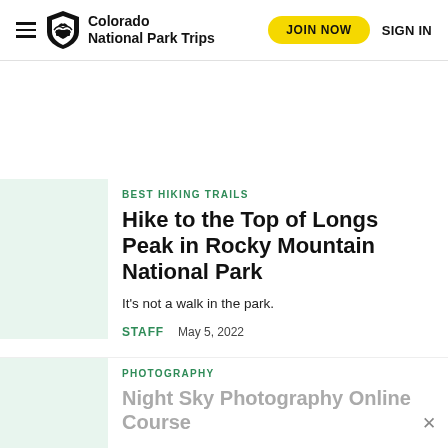Colorado National Park Trips | JOIN NOW | SIGN IN
BEST HIKING TRAILS
Hike to the Top of Longs Peak in Rocky Mountain National Park
It's not a walk in the park.
STAFF   May 5, 2022
PHOTOGRAPHY
Night Sky Photography Online Course